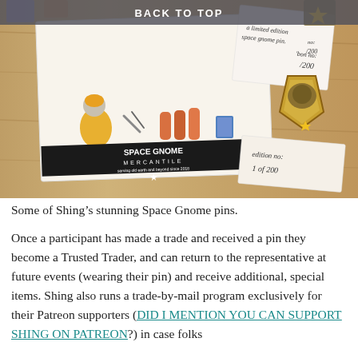BACK TO TOP
[Figure (photo): Photo of Space Gnome Mercantile enamel pins and illustrated cards on a wooden surface. Cards show a space gnome character and tools. A shield-shaped enamel pin reads 'Space Gnome Mercantile serving old earth and beyond since 2018'. Handwritten text reads 'a limited edition space gnome pin', 'bon no: /200', 'edition no: 1 of 200'.]
Some of Shing’s stunning Space Gnome pins.
Once a participant has made a trade and received a pin they become a Trusted Trader, and can return to the representative at future events (wearing their pin) and receive additional, special items. Shing also runs a trade-by-mail program exclusively for their Patreon supporters (DID I MENTION YOU CAN SUPPORT SHING ON PATREON?) in case folks